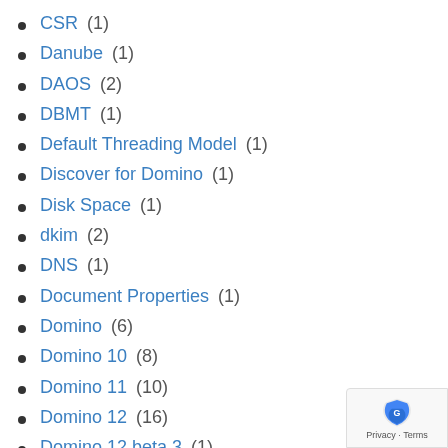CSR (1)
Danube (1)
DAOS (2)
DBMT (1)
Default Threading Model (1)
Discover for Domino (1)
Disk Space (1)
dkim (2)
DNS (1)
Document Properties (1)
Domino (6)
Domino 10 (8)
Domino 11 (10)
Domino 12 (16)
Domino 12 beta 3 (1)
Domino 12.0.1 (1)